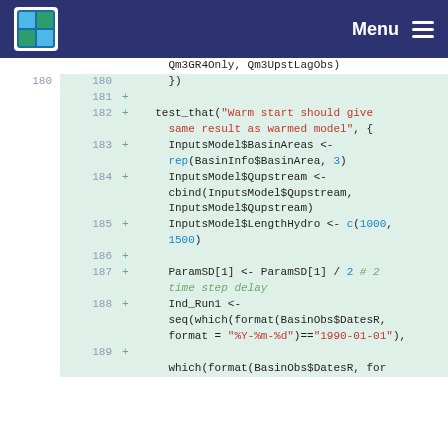Menu
[Figure (screenshot): Code diff view showing lines 180-189 of an R test file with added lines (green background, + marker). Lines show test_that for warm start model, InputsModel assignments, ParamSD modification, and Ind_Run1 sequence definition.]